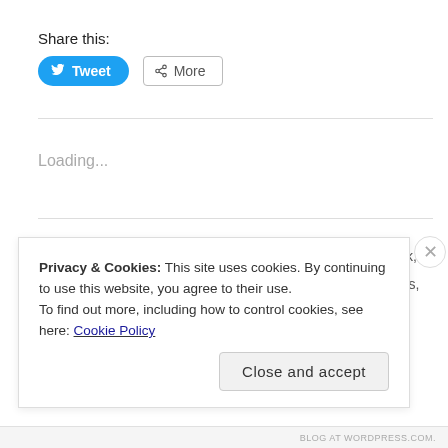Share this:
[Figure (other): Tweet button (blue rounded button with Twitter bird icon) and More button (outline button with share icon)]
Loading...
Megan / June 12, 2012 / June 2012, Outfits / blue tank, cargos, everyday mom style, gladiator sandals, Naot sandals, skinny cargos, striped vest / 1 Comment
Privacy & Cookies: This site uses cookies. By continuing to use this website, you agree to their use.
To find out more, including how to control cookies, see here: Cookie Policy
Close and accept